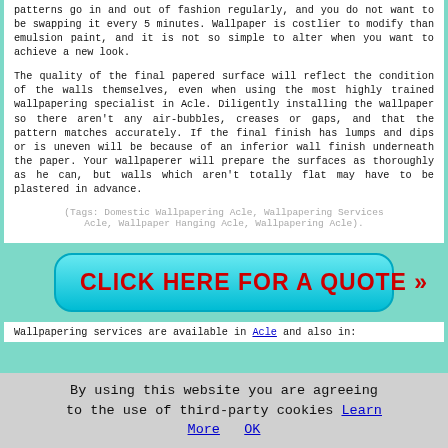patterns go in and out of fashion regularly, and you do not want to be swapping it every 5 minutes. Wallpaper is costlier to modify than emulsion paint, and it is not so simple to alter when you want to achieve a new look.
The quality of the final papered surface will reflect the condition of the walls themselves, even when using the most highly trained wallpapering specialist in Acle. Diligently installing the wallpaper so there aren't any air-bubbles, creases or gaps, and that the pattern matches accurately. If the final finish has lumps and dips or is uneven will be because of an inferior wall finish underneath the paper. Your wallpaperer will prepare the surfaces as thoroughly as he can, but walls which aren't totally flat may have to be plastered in advance.
(Tags: Domestic Wallpapering Acle, Wallpapering Services Acle, Wallpaper Hanging Acle, Wallpapering Acle).
[Figure (other): Cyan/turquoise rounded button with red bold uppercase text: CLICK HERE FOR A QUOTE >>]
Wallpapering services are available in Acle and also in:
By using this website you are agreeing to the use of third-party cookies Learn More   OK